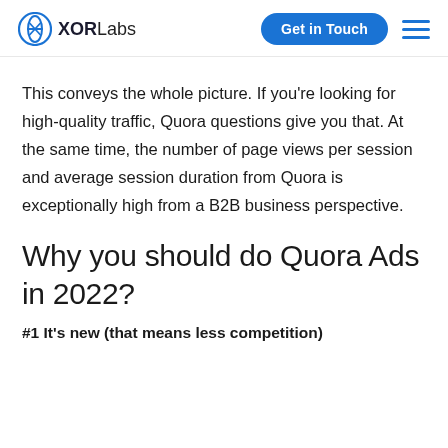XORLabs | Get in Touch
This conveys the whole picture. If you're looking for high-quality traffic, Quora questions give you that. At the same time, the number of page views per session and average session duration from Quora is exceptionally high from a B2B business perspective.
Why you should do Quora Ads in 2022?
#1 It's new (that means less competition)